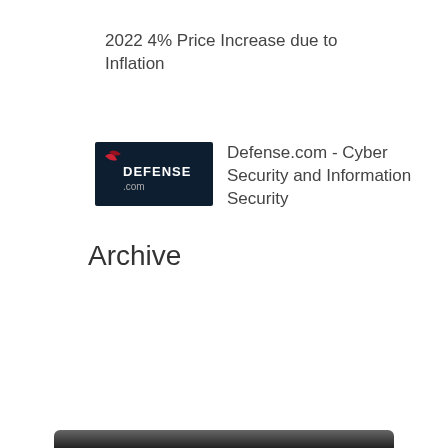2022 4% Price Increase due to Inflation
[Figure (logo): Defense.com logo — dark navy rectangle with white text 'DEFENSE.com' and a small red graphic element]
Defense.com - Cyber Security and Information Security
Archive